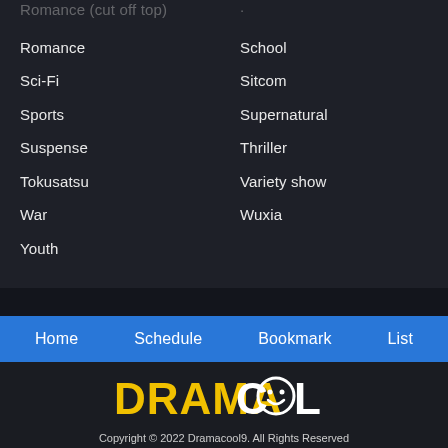Romance
Sci-Fi
Sports
Suspense
Tokusatsu
War
Youth
School
Sitcom
Supernatural
Thriller
Variety show
Wuxia
Home  Schedule  Bookmark  List
[Figure (logo): Dramacool logo with DRAMA in yellow and COOL in white with smiley face circle]
Copyright © 2022 Dramacool9. All Rights Reserved
Disclaimer: This site Dramacool9 does not store any files on its server. All contents are provided by non-affiliated third parties.